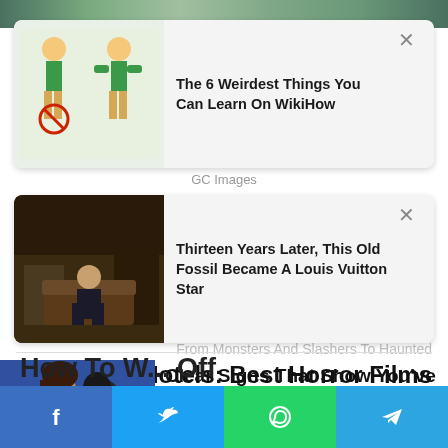[Figure (screenshot): Top image strip showing scenic/nature background]
[Figure (screenshot): Ad card: The 6 Weirdest Things You Can Learn On WikiHow with cartoon illustration thumbnail]
GC Images
[Figure (screenshot): Ad card: Thirteen Years Later, This Old Fossil Became A Louis Vuitton Star with photo thumbnail of person seated]
From Monsters And Slashers To Haunted Hotels: Best Horror Films
Brainberries
[Figure (photo): Photo of couple kissing]
Clear Signs That Show You've Been Sleeping With Your Soulmate
Herbeauty
How To W... Off
[Figure (screenshot): Social sharing bar with Facebook, Twitter, WhatsApp, and Telegram buttons]